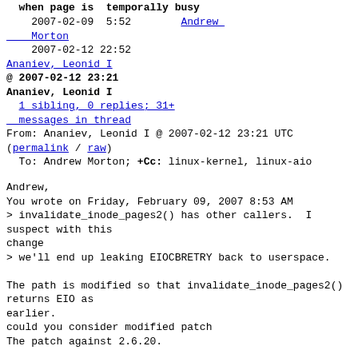when page is  temporally busy
2007-02-09  5:52       Andrew Morton
  2007-02-12 22:52
Ananiev, Leonid I
@ 2007-02-12 23:21
Ananiev, Leonid I
  1 sibling, 0 replies; 31+ messages in thread
From: Ananiev, Leonid I @ 2007-02-12 23:21 UTC (permalink / raw)
  To: Andrew Morton; +Cc: linux-kernel, linux-aio
Andrew,
You wrote on Friday, February 09, 2007 8:53 AM
> invalidate_inode_pages2() has other callers.  I suspect with this
change
> we'll end up leaking EIOCBRETRY back to userspace.

The path is modified so that invalidate_inode_pages2() returns EIO as
earlier.
could you consider modified patch
The patch against 2.6.20.